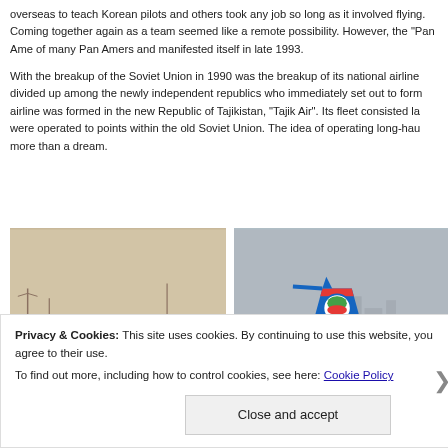overseas to teach Korean pilots and others took any job so long as it involved flying. Coming together again as a team seemed like a remote possibility. However, the "Pan Ame of many Pan Amers and manifested itself in late 1993.
With the breakup of the Soviet Union in 1990 was the breakup of its national airline divided up among the newly independent republics who immediately set out to form airline was formed in the new Republic of Tajikistan, "Tajik Air". Its fleet consisted la were operated to points within the old Soviet Union. The idea of operating long-hau more than a dream.
[Figure (photo): Sepia-toned photograph of a propeller aircraft on an airfield in foggy or hazy conditions, with utility poles visible in the background.]
[Figure (photo): Color photograph showing the tail section of a Tajik Air aircraft with blue and white livery and a green/red circular logo, registration EY-85111, photographed on an airfield with city buildings in the background.]
Privacy & Cookies: This site uses cookies. By continuing to use this website, you agree to their use.
To find out more, including how to control cookies, see here: Cookie Policy
Close and accept